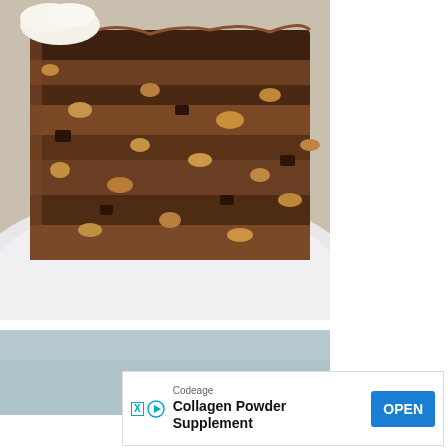[Figure (photo): Close-up photograph of a slice of dense chocolate walnut cake or brownie on a white plate, showing crumbly dark brown texture with visible nuts and chunks]
[Figure (photo): Partial second food photo with light blue-gray background, cropped at bottom of page]
Codeage
Collagen Powder Supplement
OPEN